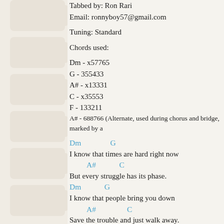Tabbed by: Ron Rari
Email: ronnyboy57@gmail.com
Tuning: Standard
Chords used:
Dm - x57765
G  - 355433
A# - x13331
C  - x35553
F  - 133211
A# - 688766 (Alternate, used during chorus and bridge, marked by a
Dm                G
I know that times are hard right now
A#              C
But every struggle has its phase.
Dm              G
I know that people bring you down
A#                  C
Save the trouble and just walk away.